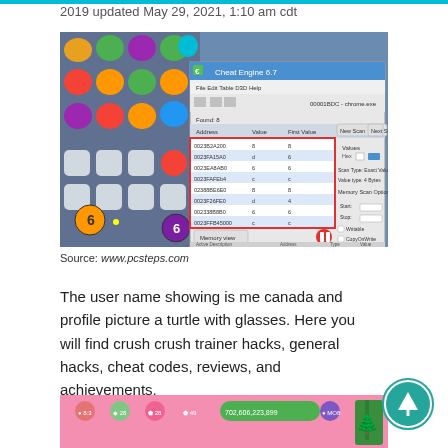2019 updated May 29, 2021, 1:10 am cdt
[Figure (screenshot): Screenshot of Candy Crush game with Cheat Engine 6.7 overlay showing memory addresses and values in a table]
Source: www.pcsteps.com
The user name showing is me canada and profile picture a turtle with glasses. Here you will find crush crush trainer hacks, general hacks, cheat codes, reviews, and achievements.
[Figure (screenshot): Screenshot of a game with a pink background showing various icons and a currency amount 702,606,223,899]